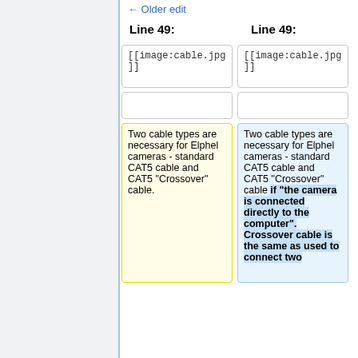← Older edit
Line 49:
Line 49:
[[image:cable.jpg]]
[[image:cable.jpg]]
Two cable types are necessary for Elphel cameras - standard CAT5 cable and CAT5 "Crossover" cable.
Two cable types are necessary for Elphel cameras - standard CAT5 cable and CAT5 "Crossover" cable if "the camera is connected directly to the computer". Crossover cable is the same as used to connect two